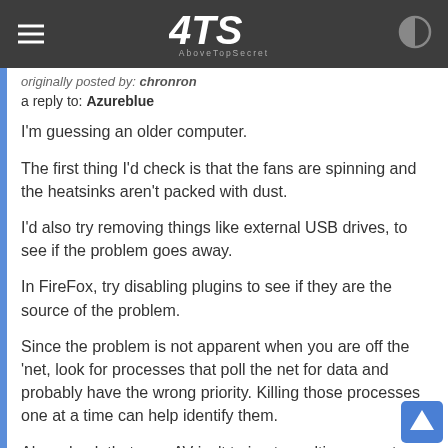ATS AboveTopSecret
originally posted by: chronron
a reply to: Azureblue
I'm guessing an older computer.
The first thing I'd check is that the fans are spinning and the heatsinks aren't packed with dust.
I'd also try removing things like external USB drives, to see if the problem goes away.
In FireFox, try disabling plugins to see if they are the source of the problem.
Since the problem is not apparent when you are off the 'net, look for processes that poll the net for data and probably have the wrong priority. Killing those processes one at a time can help identify them.
Also, check that your AV isn't trying to realtime-scan temp files and such and cut down to a single realtime AV. Could be, they just don't get along.